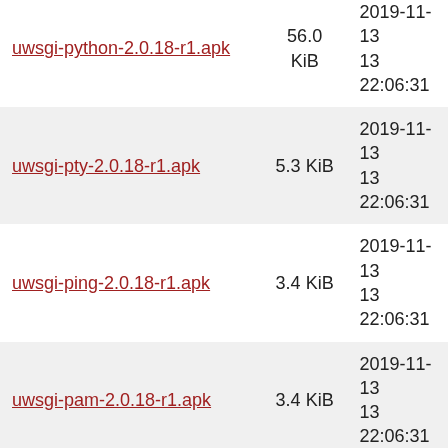| uwsgi-python-2.0.18-r1.apk | 56.0 KiB | 2019-11-13 22:06:31 |
| uwsgi-pty-2.0.18-r1.apk | 5.3 KiB | 2019-11-13 22:06:31 |
| uwsgi-ping-2.0.18-r1.apk | 3.4 KiB | 2019-11-13 22:06:31 |
| uwsgi-pam-2.0.18-r1.apk | 3.4 KiB | 2019-11-13 22:06:31 |
| uwsgi-notfound-2.0.18-r1.apk | 2.7 KiB | 2019-11-13 22:06:31 |
| uwsgi-nagios-2.0.18-r1.apk | 3.4 KiB | 2019-11-13 22:06:31 |
| uwsgi-msgpack-2.0.18-r1.apk | 4.7 KiB | 2019-11-13 22:06:31 |
| uwsgi-lua-2.0.18-r1.apk | 9.9 KiB | 2019-11-13 22:06:31 |